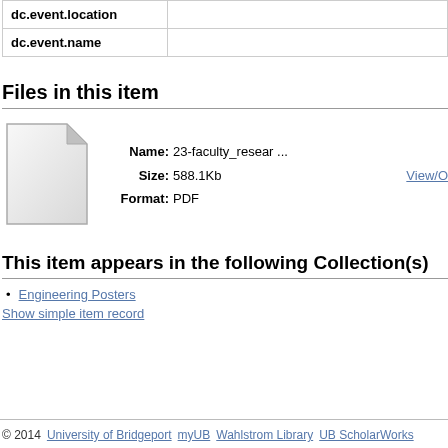| Field | Value |
| --- | --- |
| dc.event.location |  |
| dc.event.name |  |
Files in this item
[Figure (illustration): Generic file/document icon — white page with folded top-right corner]
Name: 23-faculty_resear ...
Size: 588.1Kb
Format: PDF
View/O
This item appears in the following Collection(s)
Engineering Posters
Show simple item record
© 2014  University of Bridgeport  myUB  Wahlstrom Library  UB ScholarWorks